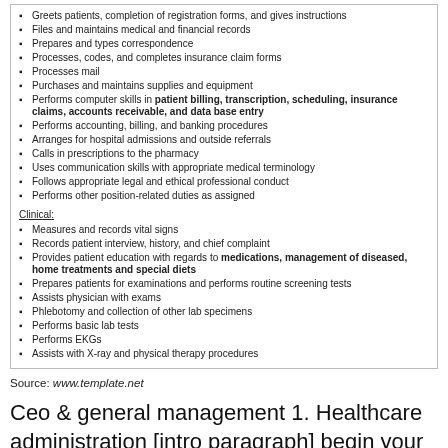Greets patients, completion of registration forms, and gives instructions
Files and maintains medical and financial records
Prepares and types correspondence
Processes, codes, and completes insurance claim forms
Processes mail
Purchases and maintains supplies and equipment
Performs computer skills in patient billing, transcription, scheduling, insurance claims, accounts receivable, and data base entry
Performs accounting, billing, and banking procedures
Arranges for hospital admissions and outside referrals
Calls in prescriptions to the pharmacy
Uses communication skills with appropriate medical terminology
Follows appropriate legal and ethical professional conduct
Performs other position-related duties as assigned
Clinical:
Measures and records vital signs
Records patient interview, history, and chief complaint
Provides patient education with regards to medications, management of diseased, home treatments and special diets
Prepares patients for examinations and performs routine screening tests
Assists physician with exams
Phlebotomy and collection of other lab specimens
Performs basic lab tests
Performs EKGs
Assists with X-ray and physical therapy procedures
Source: www.template.net
Ceo & general management 1. Healthcare administration [intro paragraph] begin your healthcare administration job description with a concise paragraph or list of bulleted items designed to sell your company, institution, or.